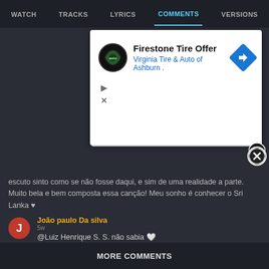WATCH | TRACKS | LYRICS | COMMENTS | VERSIONS
[Figure (screenshot): Advertisement for Firestone Tire Offer - Virginia Tire & Auto of Ashburn]
escuto sinto como se não fosse daqui, e sim de uma realidade a parte. Muito bela e bem composta essa canção! Meu sonho é conhecer o Sri Lanka ♥
João paulo Da silva
5w
@Luiz Henrique S. S. não sabia 🤍
Luiz Henrique S. S.
6w  ↑1
Srilanka e Peru, o tema do clip
Luiz Henrique S. S.
6w  ↑1
Essa música é aneatesiante
MORE COMMENTS